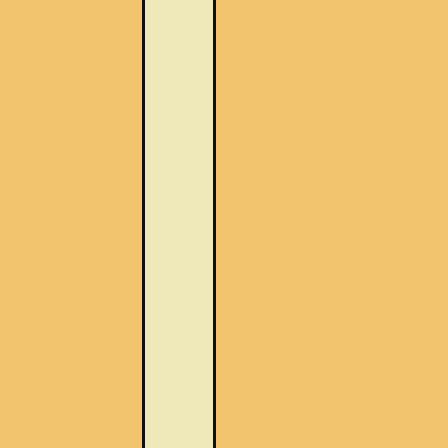This CCF will eventually control a Currently, the Family room is the devices. I have used many ideas CCFs.
Designed for:
Philips Pronto TS-1000 & RU890
Angelo Giaquinto's Theat
Added by Angelo Giaquinto | 2005 | 9,4
A complete system CCF file for th
NEW REVIEWS
Acoustic Research Xsight Touch ARRX18G
Sony PlayStation 3 Advanced Control Roundup
Pinnacle PCTV HD Pro Stick HDTV Tuner
Universal Remote Control Inc. Digital R50